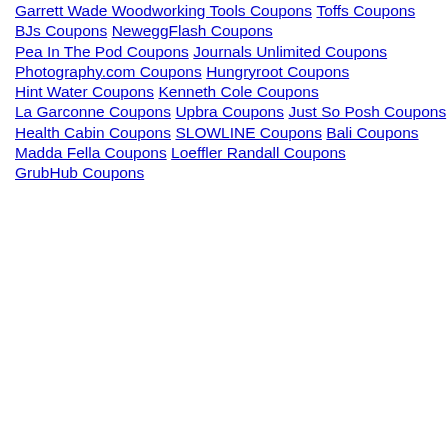Garrett Wade Woodworking Tools Coupons
Toffs Coupons
BJs Coupons
NeweggFlash Coupons
Pea In The Pod Coupons
Journals Unlimited Coupons
Photography.com Coupons
Hungryroot Coupons
Hint Water Coupons
Kenneth Cole Coupons
La Garconne Coupons
Upbra Coupons
Just So Posh Coupons
Health Cabin Coupons
SLOWLINE Coupons
Bali Coupons
Madda Fella Coupons
Loeffler Randall Coupons
GrubHub Coupons